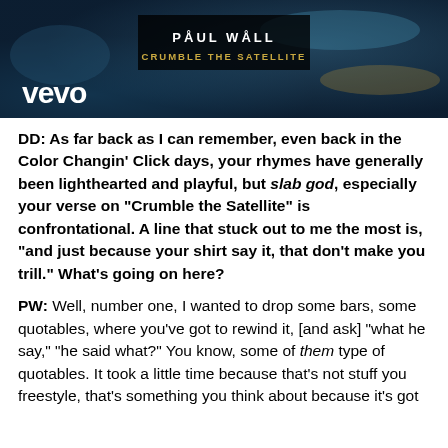[Figure (screenshot): Vevo music video banner showing Paul Wall - Crumble the Satellite with Vevo logo on dark blue/teal background]
DD: As far back as I can remember, even back in the Color Changin' Click days, your rhymes have generally been lighthearted and playful, but slab god, especially your verse on “Crumble the Satellite” is confrontational. A line that stuck out to me the most is, “and just because your shirt say it, that don’t make you trill.” What’s going on here?
PW: Well, number one, I wanted to drop some bars, some quotables, where you’ve got to rewind it, [and ask] “what he say,” “he said what?” You know, some of them type of quotables. It took a little time because that’s not stuff you freestyle, that’s something you think about because it’s got to be a little something something something